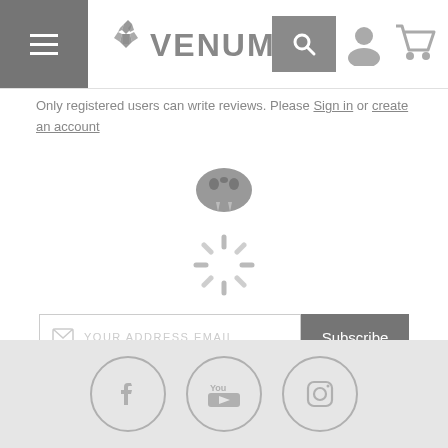[Figure (logo): Venum brand logo with snake icon and hamburger menu, search, user, and cart icons in header navigation bar]
Only registered users can write reviews. Please Sign in or create an account
[Figure (logo): Venum snake logo watermark with loading spinner overlay and JOIN THE VENUM TEAM text]
[Figure (screenshot): Email subscription input box with YOUR ADDRESS EMAIL placeholder and Subscribe button]
[Figure (infographic): Social media icons: Facebook, YouTube, Instagram in circular borders on grey footer]